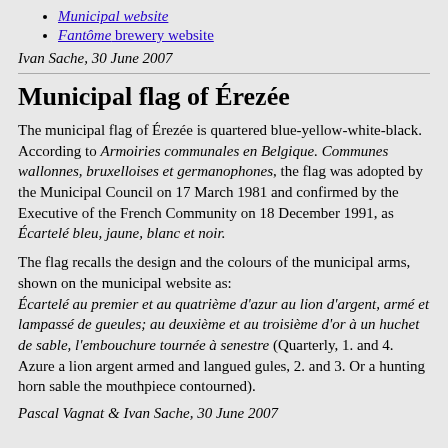Municipal website
Fantôme brewery website
Ivan Sache, 30 June 2007
Municipal flag of Érezée
The municipal flag of Érezée is quartered blue-yellow-white-black. According to Armoiries communales en Belgique. Communes wallonnes, bruxelloises et germanophones, the flag was adopted by the Municipal Council on 17 March 1981 and confirmed by the Executive of the French Community on 18 December 1991, as Écartelé bleu, jaune, blanc et noir.
The flag recalls the design and the colours of the municipal arms, shown on the municipal website as: Écartelé au premier et au quatrième d'azur au lion d'argent, armé et lampassé de gueules; au deuxième et au troisième d'or à un huchet de sable, l'embouchure tournée à senestre (Quarterly, 1. and 4. Azure a lion argent armed and langued gules, 2. and 3. Or a hunting horn sable the mouthpiece contourned).
Pascal Vagnat & Ivan Sache, 30 June 2007